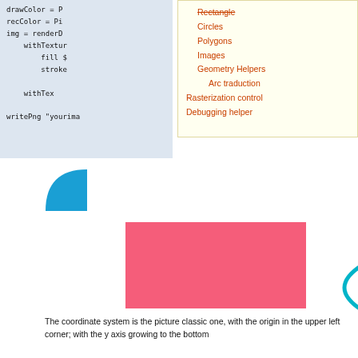drawColor = P
recColor = Pi
img = renderD
    withTextur
        fill $
        stroke

    withTex

writePng "yourima
Rectangle
Circles
Polygons
Images
Geometry Helpers
Arc traduction
Rasterization control
Debugging helper
[Figure (illustration): Blue filled quarter-circle shape in lower-left orientation]
[Figure (illustration): Pink/coral filled rectangle]
[Figure (illustration): Cyan arc curve partially visible at right edge]
The coordinate system is the picture classic one, with the origin in the upper left corner; with the y axis growing to the bottom